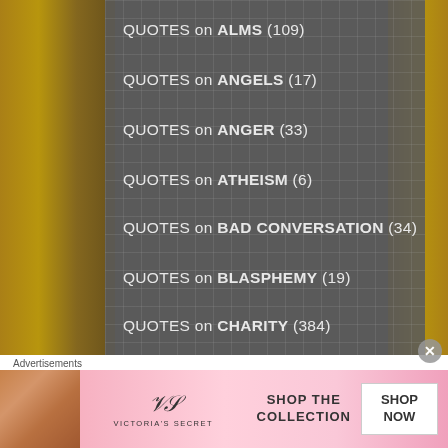QUOTES on ALMS (109)
QUOTES on ANGELS (17)
QUOTES on ANGER (33)
QUOTES on ATHEISM (6)
QUOTES on BAD CONVERSATION (34)
QUOTES on BLASPHEMY (19)
QUOTES on CHARITY (384)
QUOTES on CHASTITY (22)
QUOTES on CHILDREN (8)
QUOTES on CONSCIENCE (84)
QUOTES on CONSOLATION (33)
[Figure (illustration): Victoria's Secret advertisement banner with model, logo, 'SHOP THE COLLECTION' text and 'SHOP NOW' button on pink background]